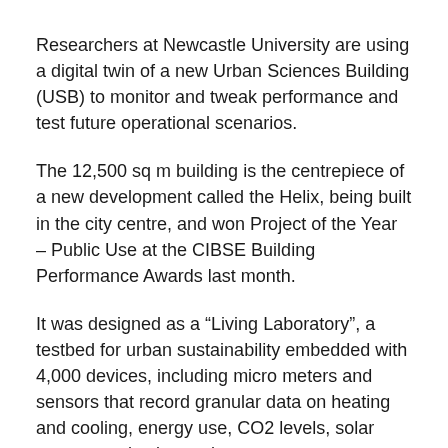Researchers at Newcastle University are using a digital twin of a new Urban Sciences Building (USB) to monitor and tweak performance and test future operational scenarios.
The 12,500 sq m building is the centrepiece of a new development called the Helix, being built in the city centre, and won Project of the Year – Public Use at the CIBSE Building Performance Awards last month.
It was designed as a “Living Laboratory”, a testbed for urban sustainability embedded with 4,000 devices, including micro meters and sensors that record granular data on heating and cooling, energy use, CO2 levels, solar energy production and more.